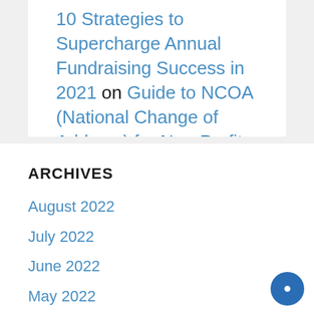10 Strategies to Supercharge Annual Fundraising Success in 2021 on Guide to NCOA (National Change of Address) for Non-Profits
ARCHIVES
August 2022
July 2022
June 2022
May 2022
April 2022